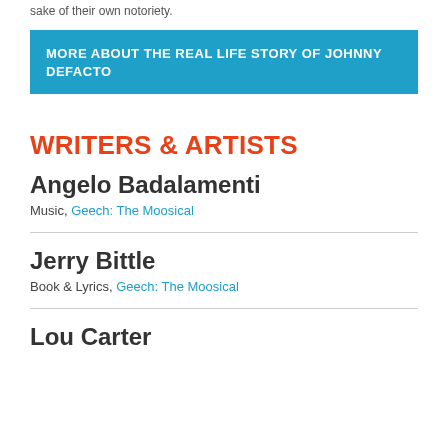sake of their own notoriety.
MORE ABOUT THE REAL LIFE STORY OF JOHNNY DEFACTO
WRITERS & ARTISTS
Angelo Badalamenti
Music, Geech: The Moosical
Jerry Bittle
Book & Lyrics, Geech: The Moosical
Lou Carter